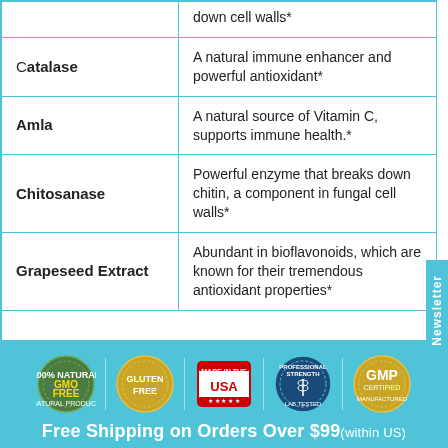| Ingredient | Description |
| --- | --- |
|  | down cell walls* |
| Catalase | A natural immune enhancer and powerful antioxidant* |
| Amla | A natural source of Vitamin C, supports immune health.* |
| Chitosanase | Powerful enzyme that breaks down chitin, a component in fungal cell walls* |
| Grapeseed Extract | Abundant in bioflavonoids, which are known for their tremendous antioxidant properties* |
[Figure (infographic): Bottom banner with certification badges: GMO Free, Gluten Free, Made in the USA, Professional Strength Laboratory Tested, GMP Certified. Free Shipping on Orders Over $99 (within US).]